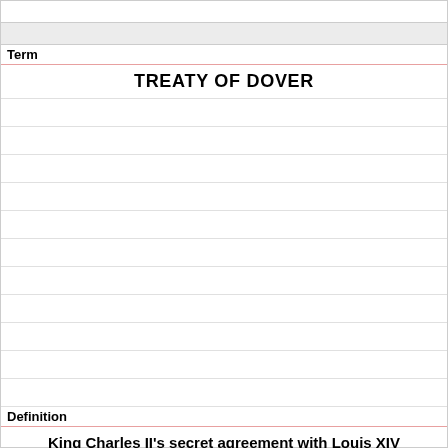Term
TREATY OF DOVER
Definition
King Charles II's secret agreement with Louis XIV